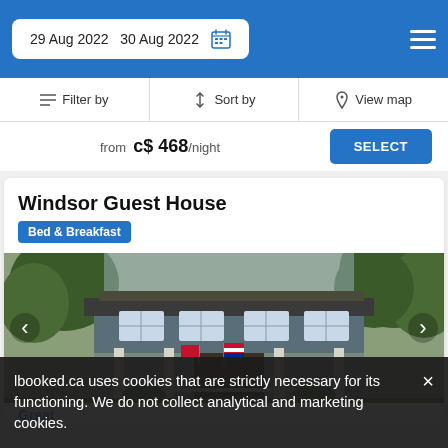29 Aug 2022  30 Aug 2022
Filter by  Sort by  View map
from c$ 468/night  SELECT
Windsor Guest House
Bed & Breakfast
[Figure (photo): Photo of Windsor Guest House exterior — a two-storey craftsman style home with flags on the porch, surrounded by trees]
lbooked.ca uses cookies that are strictly necessary for its functioning. We do not collect analytical and marketing cookies.
Great